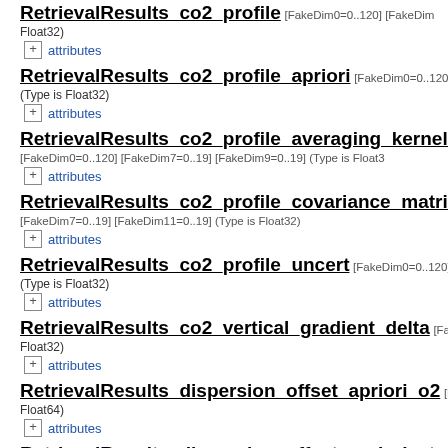RetrievalResults_co2_profile [FakeDim0=0..120] [FakeDim... Float32)
RetrievalResults_co2_profile_apriori [FakeDim0=0..120] (Type is Float32)
RetrievalResults_co2_profile_averaging_kernel_m [FakeDim0=0..120] [FakeDim7=0..19] [FakeDim9=0..19] (Type is Float3...
RetrievalResults_co2_profile_covariance_matrix [F... [FakeDim7=0..19] [FakeDim11=0..19] (Type is Float32)
RetrievalResults_co2_profile_uncert [FakeDim0=0..120] (Type is Float32)
RetrievalResults_co2_vertical_gradient_delta [FakeD... Float32)
RetrievalResults_dispersion_offset_apriori_o2 [Fake... Float64)
RetrievalResults_dispersion_offset_apriori_strong_ [FakeDim0=0..120] (Type is Float64)
RetrievalResults_dispersion_offset_apriori_weak_...